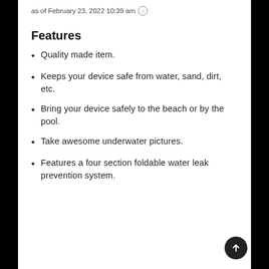as of February 23, 2022 10:39 am ℹ
Features
Quality made item.
Keeps your device safe from water, sand, dirt, etc.
Bring your device safely to the beach or by the pool.
Take awesome underwater pictures.
Features a four section foldable water leak prevention system.